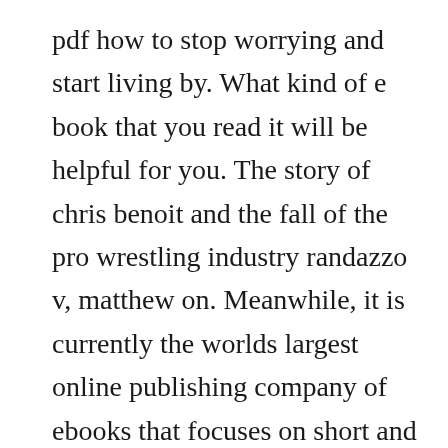pdf how to stop worrying and start living by. What kind of e book that you read it will be helpful for you. The story of chris benoit and the fall of the pro wrestling industry randazzo v, matthew on. Meanwhile, it is currently the worlds largest online publishing company of ebooks that focuses on short and practical books, it. Hells best kept secret kindle edition by ray comfort. Download free ebooks here is a complete list of all the ebooks directories and search engine on the web. Dante, a cross between a devil and a superhero was created